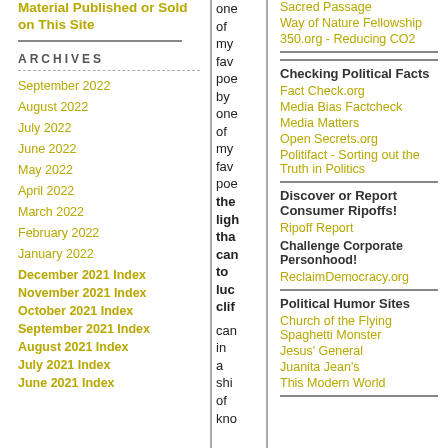Material Published or Sold on This Site
ARCHIVES
September 2022
August 2022
July 2022
June 2022
May 2022
April 2022
March 2022
February 2022
January 2022
December 2021 Index
November 2021 Index
October 2021 Index
September 2021 Index
August 2021 Index
July 2021 Index
June 2021 Index
one of my fav poe by one of my fav poe the light that can to luck clif can in a shi of kno
Sacred Passage
Way of Nature Fellowship
350.org - Reducing CO2
Checking Political Facts
Fact Check.org
Media Bias Factcheck
Media Matters
Open Secrets.org
Politifact - Sorting out the Truth in Politics
Discover or Report Consumer Ripoffs!
Ripoff Report
Challenge Corporate Personhood!
ReclaimDemocracy.org
Political Humor Sites
Church of the Flying Spaghetti Monster
Jesus' General
Juanita Jean's
This Modern World